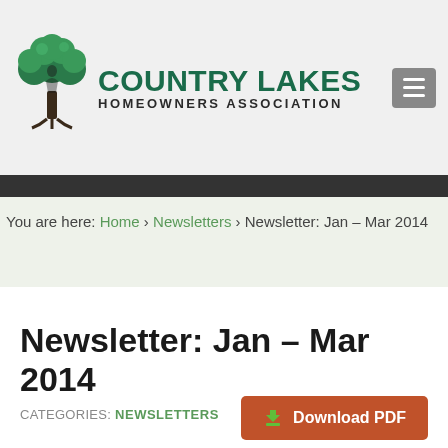[Figure (logo): Country Lakes Homeowners Association logo with tree graphic and organization name]
You are here: Home › Newsletters › Newsletter: Jan – Mar 2014
Newsletter: Jan – Mar 2014
CATEGORIES: NEWSLETTERS
Download PDF